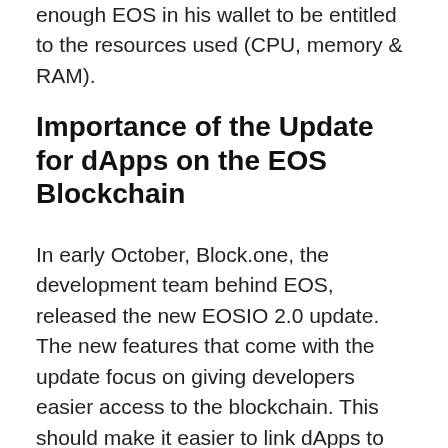enough EOS in his wallet to be entitled to the resources used (CPU, memory & RAM).
Importance of the Update for dApps on the EOS Blockchain
In early October, Block.one, the development team behind EOS, released the new EOSIO 2.0 update. The new features that come with the update focus on giving developers easier access to the blockchain. This should make it easier to link dApps to the EOS Blockchain and enable them to communicate faster. Among the contents of the released update are the EOS VM, the EOSIO Quickstart Web IDE and WebAuthn